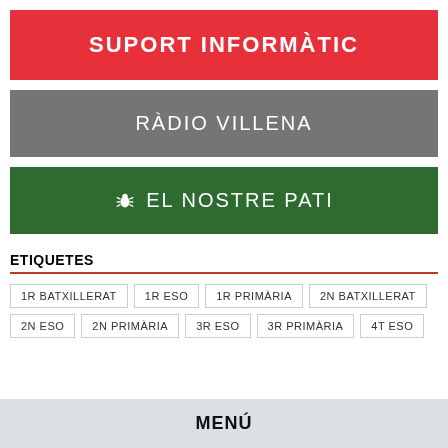SUPORT INFORMÀTIC
RÀDIO VILLENA
EL NOSTRE PATI
ETIQUETES
1R BATXILLERAT
1R ESO
1R PRIMÀRIA
2N BATXILLERAT
2N ESO
2N PRIMÀRIA
3R ESO
3R PRIMÀRIA
4T ESO
MENÚ